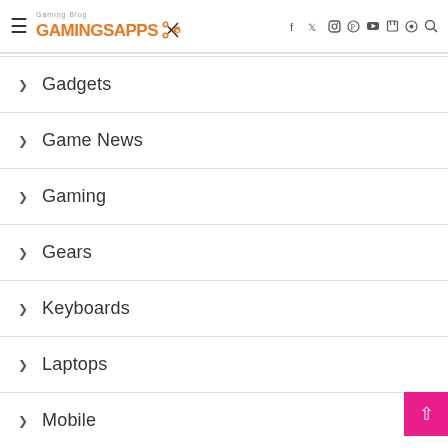GamingsApps Gaming Blog — navigation header with social icons
Gadgets
Game News
Gaming
Gears
Keyboards
Laptops
Mobile
Mouse
PC